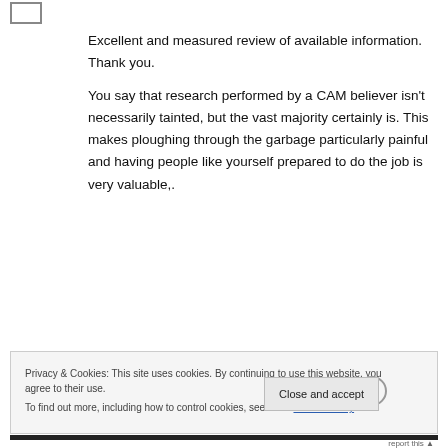Excellent and measured review of available information. Thank you.

You say that research performed by a CAM believer isn't necessarily tainted, but the vast majority certainly is. This makes ploughing through the garbage particularly painful and having people like yourself prepared to do the job is very valuable,.
Privacy & Cookies: This site uses cookies. By continuing to use this website, you agree to their use.
To find out more, including how to control cookies, see here: Cookie Policy
Close and accept